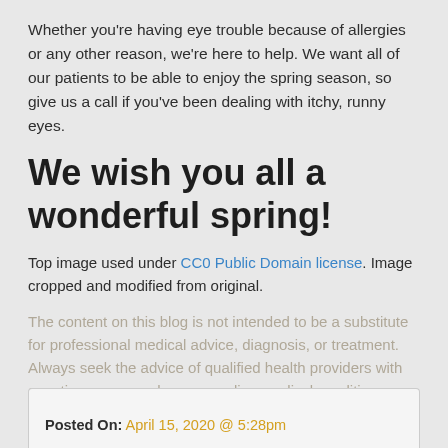Whether you're having eye trouble because of allergies or any other reason, we're here to help. We want all of our patients to be able to enjoy the spring season, so give us a call if you've been dealing with itchy, runny eyes.
We wish you all a wonderful spring!
Top image used under CC0 Public Domain license. Image cropped and modified from original.
The content on this blog is not intended to be a substitute for professional medical advice, diagnosis, or treatment. Always seek the advice of qualified health providers with questions you may have regarding medical conditions.
Posted On: April 15, 2020 @ 5:28pm